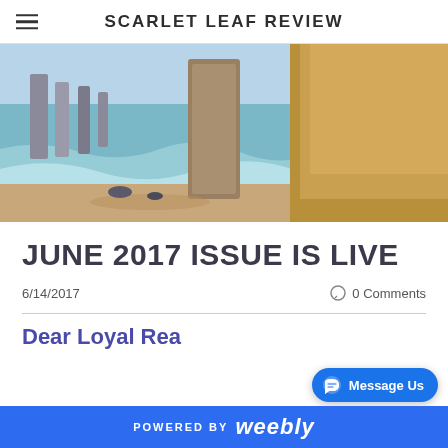SCARLET LEAF REVIEW
[Figure (photo): Coastal scene with limestone rock stacks and sandy beach, waves washing up to shore, golden cliffs in background]
JUNE 2017 ISSUE IS LIVE
6/14/2017
0 Comments
Dear Loyal Rea…
POWERED BY weebly